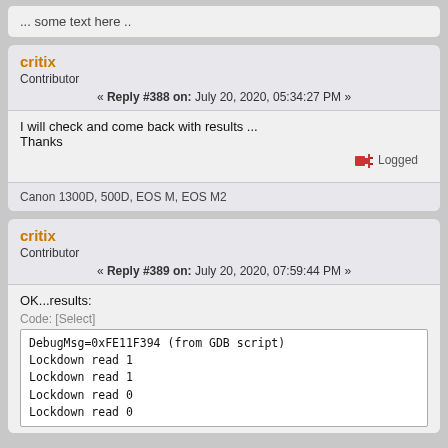... some text here ..
critix
Contributor
« Reply #388 on: July 20, 2020, 05:34:27 PM »
I will check and come back with results ...
Thanks
Logged
Canon 1300D, 500D, EOS M, EOS M2
critix
Contributor
« Reply #389 on: July 20, 2020, 07:59:44 PM »
OK...results:
Code: [Select]
DebugMsg=0xFE11F394 (from GDB script)
Lockdown read 1
Lockdown read 1
Lockdown read 0
Lockdown read 0